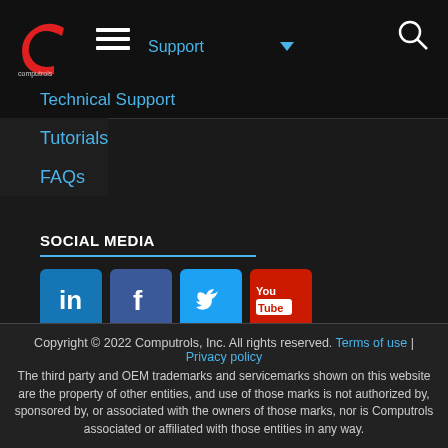[Figure (logo): Computrols logo — red C shape with white 'computrols' text below]
Technical Support
Tutorials
FAQs
SOCIAL MEDIA
[Figure (infographic): Social media icons: LinkedIn, Facebook, Twitter, YouTube]
Copyright © 2022 Computrols, Inc. All rights reserved. Terms of use | Privacy policy
The third party and OEM trademarks and servicemarks shown on this website are the property of other entities, and use of those marks is not authorized by, sponsored by, or associated with the owners of those marks, nor is Computrols associated or affiliated with those entities in any way.